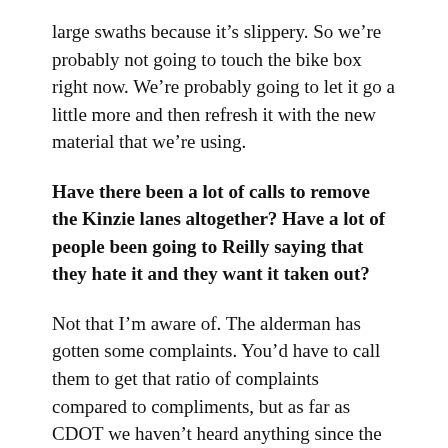large swaths because it’s slippery. So we’re probably not going to touch the bike box right now. We’re probably going to let it go a little more and then refresh it with the new material that we’re using.
Have there been a lot of calls to remove the Kinzie lanes altogether? Have a lot of people been going to Reilly saying that they hate it and they want it taken out?
Not that I’m aware of. The alderman has gotten some complaints. You’d have to call them to get that ratio of complaints compared to compliments, but as far as CDOT we haven’t heard anything since the two weeks when we were first doing installation.
How would you respond to someone who’d say, “Well, if you remove the bollards from a protected bike lane so that there’s no physical